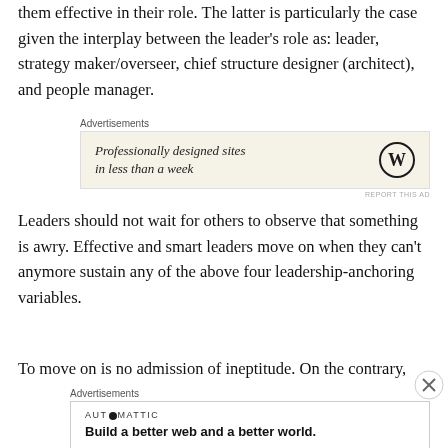them effective in their role. The latter is particularly the case given the interplay between the leader's role as: leader, strategy maker/overseer, chief structure designer (architect), and people manager.
[Figure (other): Advertisement box with WordPress logo and text 'Professionally designed sites in less than a week']
Leaders should not wait for others to observe that something is awry. Effective and smart leaders move on when they can't anymore sustain any of the above four leadership-anchoring variables.
To move on is no admission of ineptitude. On the contrary, it...
[Figure (other): Advertisement box with Automattic logo and text 'Build a better web and a better world.']